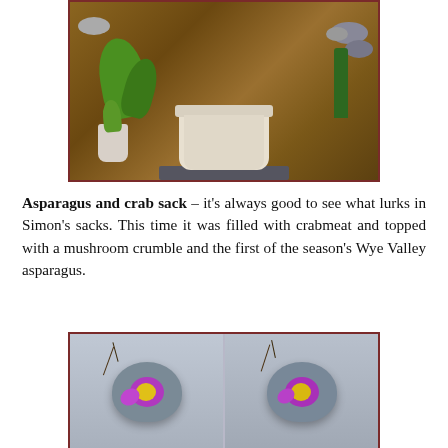[Figure (photo): Photo of a white ceramic pot filled with gravel containing lettuce leaves and a sprig of asparagus, placed on a dark slate board with river stones in the background on a wooden table.]
Asparagus and crab sack – it's always good to see what lurks in Simon's sacks. This time it was filled with crabmeat and topped with a mushroom crumble and the first of the season's Wye Valley asparagus.
[Figure (photo): Two side-by-side photos of grey stone mortar-shaped bowls each containing a purple and yellow pansy flower with decorative twigs, placed on a woven mat surface. Below that is a partial third photo of a similar grey stone bowl with an orange flower.]